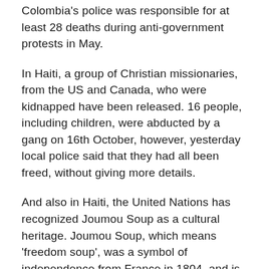Colombia's police was responsible for at least 28 deaths during anti-government protests in May.
In Haiti, a group of Christian missionaries, from the US and Canada, who were kidnapped have been released. 16 people, including children, were abducted by a gang on 16th October, however, yesterday local police said that they had all been freed, without giving more details.
And also in Haiti, the United Nations has recognized Joumou Soup as a cultural heritage. Joumou Soup, which means 'freedom soup', was a symbol of independence from France in 1804, and is made using pumpkin, meat, potato,